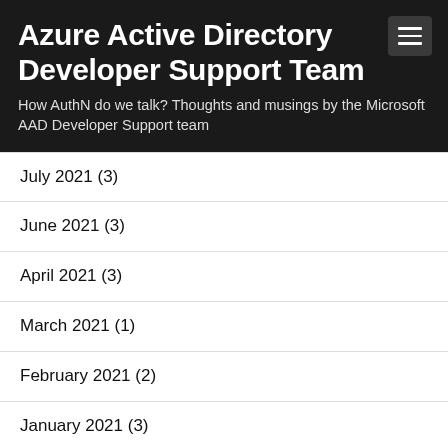Azure Active Directory Developer Support Team
How AuthN do we talk? Thoughts and musings by the Microsoft AAD Developer Support team
July 2021 (3)
June 2021 (3)
April 2021 (3)
March 2021 (1)
February 2021 (2)
January 2021 (3)
October 2020 (2)
September 2020 (2)
August 2020 (3)